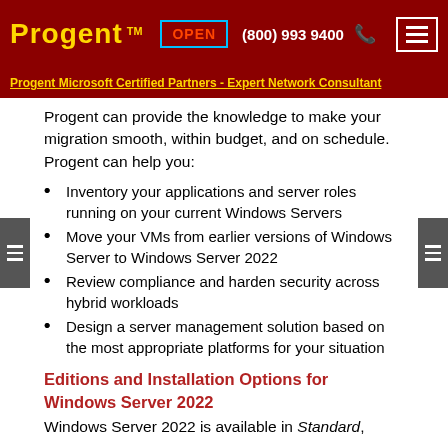Progent TM  OPEN  (800) 993 9400
Progent Microsoft Certified Partners - Expert Network Consultant
Progent can provide the knowledge to make your migration smooth, within budget, and on schedule. Progent can help you:
Inventory your applications and server roles running on your current Windows Servers
Move your VMs from earlier versions of Windows Server to Windows Server 2022
Review compliance and harden security across hybrid workloads
Design a server management solution based on the most appropriate platforms for your situation
Editions and Installation Options for Windows Server 2022
Windows Server 2022 is available in Standard,